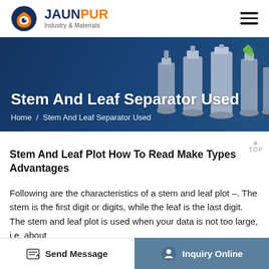JAUNPUR Industry & Materials
[Figure (screenshot): Hero banner with title 'Stem And Leaf Separator Used' and breadcrumb 'Home / Stem And Leaf Separator Used', with industrial separator machines in background]
Stem And Leaf Plot How To Read Make Types Advantages
Following are the characteristics of a stem and leaf plot –. The stem is the first digit or digits, while the leaf is the last digit. The stem and leaf plot is used when your data is not too large, i.e. about
Send Message  |  Inquiry Online